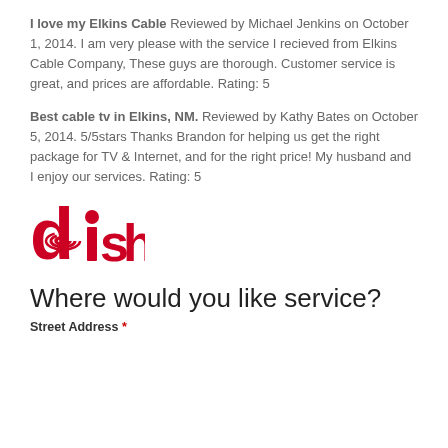I love my Elkins Cable Reviewed by Michael Jenkins on October 1, 2014. I am very please with the service I recieved from Elkins Cable Company, These guys are thorough. Customer service is great, and prices are affordable. Rating: 5
Best cable tv in Elkins, NM. Reviewed by Kathy Bates on October 5, 2014. 5/5stars Thanks Brandon for helping us get the right package for TV & Internet, and for the right price! My husband and I enjoy our services. Rating: 5
[Figure (logo): DISH Network logo in red]
Where would you like service?
Street Address *